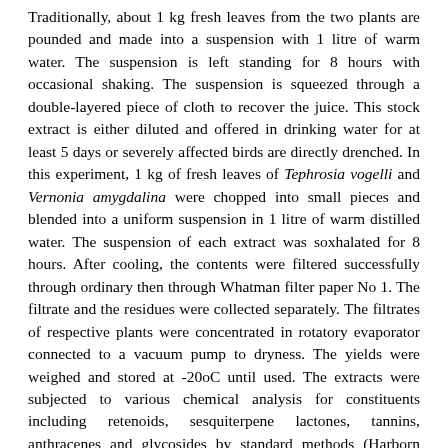Traditionally, about 1 kg fresh leaves from the two plants are pounded and made into a suspension with 1 litre of warm water. The suspension is left standing for 8 hours with occasional shaking. The suspension is squeezed through a double-layered piece of cloth to recover the juice. This stock extract is either diluted and offered in drinking water for at least 5 days or severely affected birds are directly drenched. In this experiment, 1 kg of fresh leaves of Tephrosia vogelli and Vernonia amygdalina were chopped into small pieces and blended into a uniform suspension in 1 litre of warm distilled water. The suspension of each extract was soxhalated for 8 hours. After cooling, the contents were filtered successfully through ordinary then through Whatman filter paper No 1. The filtrate and the residues were collected separately. The filtrates of respective plants were concentrated in rotatory evaporator connected to a vacuum pump to dryness. The yields were weighed and stored at -20oC until used. The extracts were subjected to various chemical analysis for constituents including retenoids, sesquiterpene lactones, tannins, anthracenes and glycosides by standard methods (Harborn 1976, Ioan 1982).
Parasites
The method used to obtain Ascaridia galli larvae for in-vitro larval migration inhibition test was a modification of that described by Hurvitz et al (1973). Briefly, adult Ascaridia galli